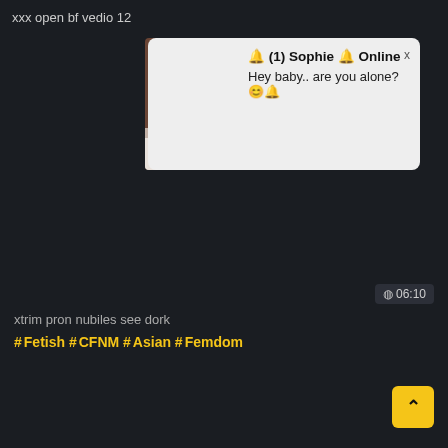xxx open bf vedio 12
[Figure (photo): Thumbnail image of a person in the top-left area of a popup notification]
🔔 (1) Sophie 🔔 Online
Hey baby.. are you alone? 😊🔔
06:10
xtrim pron nubiles see dork
#Fetish #CFNM #Asian #Femdom